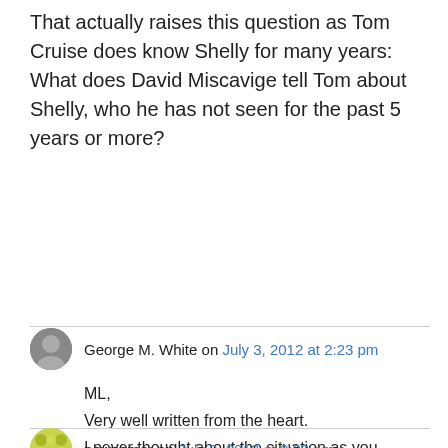That actually raises this question as Tom Cruise does know Shelly for many years: What does David Miscavige tell Tom about Shelly, who he has not seen for the past 5 years or more?
George M. White on July 3, 2012 at 2:23 pm
ML,
Very well written from the heart.
I never thought about the situation as you describe it –
“empowering only DM”

George M. White
newcomer on July 3, 2012 at 2:23 pm